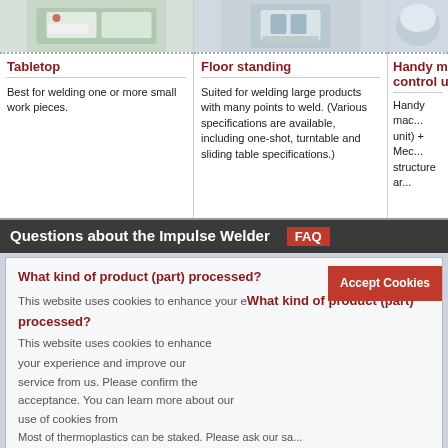[Figure (photo): Tabletop impulse welder product image]
Tabletop
Best for welding one or more small work pieces.
[Figure (photo): Floor standing impulse welder product image]
Floor standing
Suited for welding large products with many points to weld. (Various specifications are available, including one-shot, turntable and sliding table specifications.)
[Figure (photo): Handy machine control unit product image (partially visible)]
Handy m... control u...
Handy mac... unit) + Mec... structure ar...
Questions about the Impulse Welder　FAQ
This website uses cookies to enhance your experience and improve our service from us. Please confirm the acceptance. You can learn more about our use of cookies from
our Cookie Policy and our Privacy Policy
What kind of product (part) processed?
Most of thermoplastics can be staked. Please ask our sa...
+ Application
Can change heat tip?  What sizes available